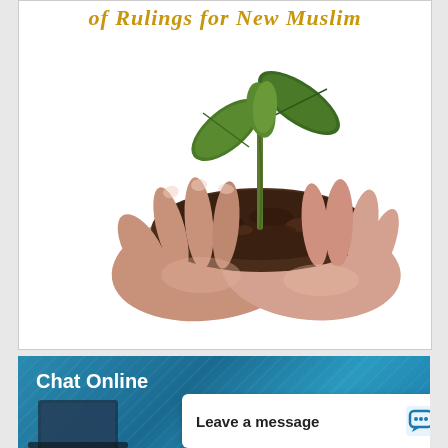of Rulings for New Muslim
[Figure (photo): Hands cupping soil with a small green seedling/plant sprouting from it, on a white background]
Chat Online
Leave a message